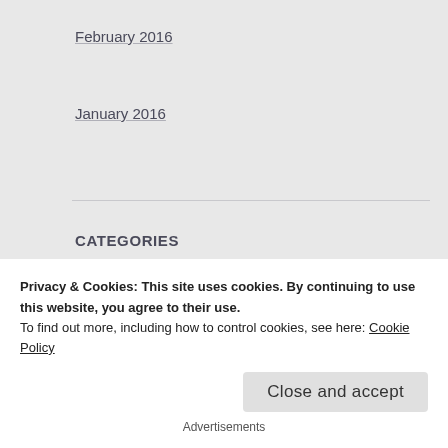February 2016
January 2016
CATEGORIES
birthday
Blackcoats
books
comic books
continuity
Privacy & Cookies: This site uses cookies. By continuing to use this website, you agree to their use.
To find out more, including how to control cookies, see here: Cookie Policy
Close and accept
Advertisements